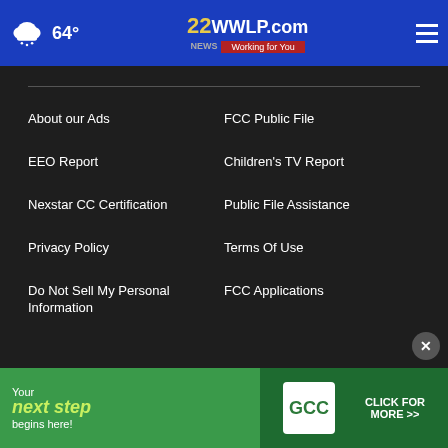64° | 22WWLP.com Working for You
About our Ads
FCC Public File
EEO Report
Children's TV Report
Nexstar CC Certification
Public File Assistance
Privacy Policy
Terms Of Use
Do Not Sell My Personal Information
FCC Applications
Public File
[Figure (infographic): GCC advertisement banner: 'Your next step begins here!' with GCC logo and 'CLICK FOR MORE >>' button on green background]